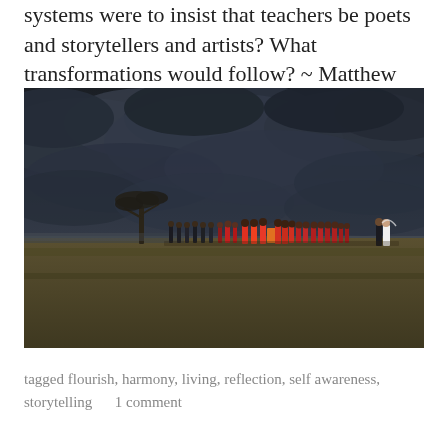systems were to insist that teachers be poets and storytellers and artists? What transformations would follow? ~ Matthew Fox
[Figure (photo): A dramatic dark stormy sky over an open African savanna landscape. A large group of people, many wearing bright red and orange traditional clothing, stand in a line in the middle distance. A lone acacia tree is visible on the left. A bride and groom stand to the right.]
tagged flourish, harmony, living, reflection, self awareness, storytelling     1 comment